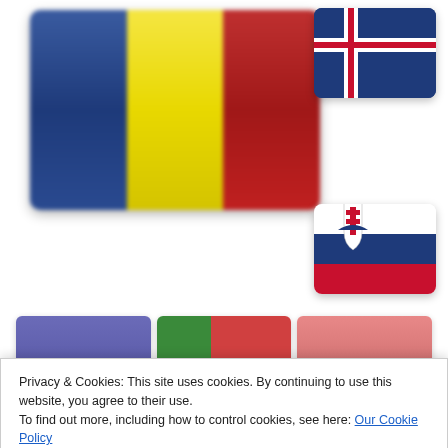[Figure (illustration): Large Romanian flag (blue, yellow, red vertical stripes) displayed blurred on the left side of the page]
[Figure (illustration): Iceland flag (dark blue with white and red cross) displayed on the top right]
[Figure (illustration): Slovakia flag (white, blue, red horizontal stripes with coat of arms) displayed on the middle right]
[Figure (illustration): Row of three partially visible flag thumbnails: Philippines (blue-purple), Portugal (green-red), and a pink/light red flag]
Privacy & Cookies: This site uses cookies. By continuing to use this website, you agree to their use.
To find out more, including how to control cookies, see here: Our Cookie Policy
[Figure (illustration): Bottom row of partially visible flag thumbnails: Macedonia (yellow/red) and a gray/light flag]